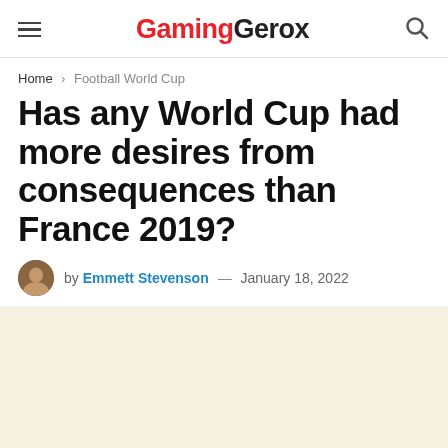GamingGerox
Home > Football World Cup
Has any World Cup had more desires from consequences than France 2019?
by Emmett Stevenson — January 18, 2022
0 SHARES
[Figure (other): Advertisement / placeholder area with beige background]